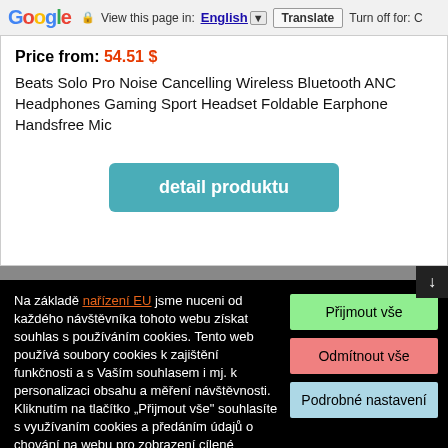Google  View this page in: English [v]  Translate  Turn off for: C
Price from: 54.51 $
Beats Solo Pro Noise Cancelling Wireless Bluetooth ANC Headphones Gaming Sport Headset Foldable Earphone Handsfree Mic
[Figure (other): Teal button labeled 'detail produktu']
Na základě nařízení EU jsme nuceni od každého návštěvníka tohoto webu získat souhlas s používáním cookies. Tento web používá soubory cookies k zajištění funkčnosti a s Vaším souhlasem i mj. k personalizaci obsahu a měření návštěvnosti. Kliknutím na tlačítko „Přijmout vše" souhlasíte s využívaním cookies a předáním údajů o chování na webu pro zobrazení cílené reklamy na sociálních sítích, reklamních sítích na dalších webech.
[Figure (other): Three buttons: green 'Přijmout vše', red 'Odmítnout vše', blue 'Podrobné nastavení']